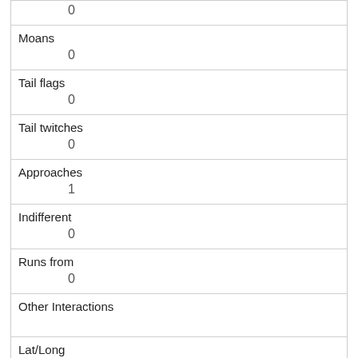| Field | Value |
| --- | --- |
|  | 0 |
| Moans | 0 |
| Tail flags | 0 |
| Tail twitches | 0 |
| Approaches | 1 |
| Indifferent | 0 |
| Runs from | 0 |
| Other Interactions |  |
| Lat/Long | POINT (-73.9767389132988 40.7689323691424) |
| Field | Value |
| --- | --- |
| Link | 115 |
| rowid |  |